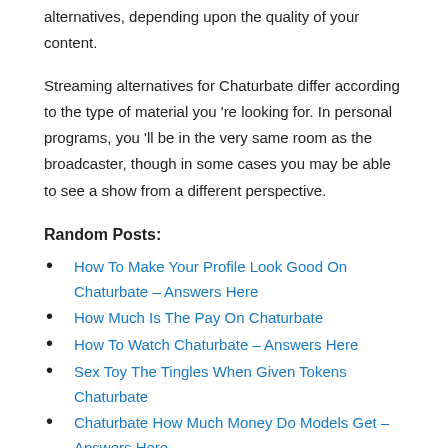alternatives, depending upon the quality of your content.
Streaming alternatives for Chaturbate differ according to the type of material you 're looking for. In personal programs, you 'll be in the very same room as the broadcaster, though in some cases you may be able to see a show from a different perspective.
Random Posts:
How To Make Your Profile Look Good On Chaturbate – Answers Here
How Much Is The Pay On Chaturbate
How To Watch Chaturbate – Answers Here
Sex Toy The Tingles When Given Tokens Chaturbate
Chaturbate How Much Money Do Models Get – Answers Here
How To Tip In Full Screen On Chaturbate
How To Customize Chaturbate
How To Get Into Password Show Chaturbate – More Answers